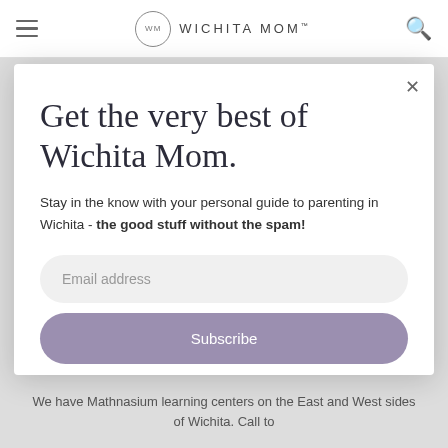WM WICHITA MOM™
Get the very best of Wichita Mom.
Stay in the know with your personal guide to parenting in Wichita - the good stuff without the spam!
Email address
Subscribe
We have Mathnasium learning centers on the East and West sides of Wichita. Call to